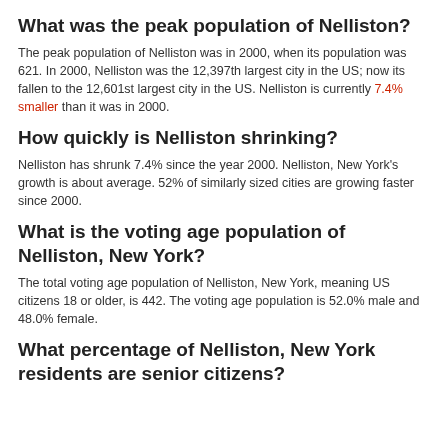What was the peak population of Nelliston?
The peak population of Nelliston was in 2000, when its population was 621. In 2000, Nelliston was the 12,397th largest city in the US; now its fallen to the 12,601st largest city in the US. Nelliston is currently 7.4% smaller than it was in 2000.
How quickly is Nelliston shrinking?
Nelliston has shrunk 7.4% since the year 2000. Nelliston, New York's growth is about average. 52% of similarly sized cities are growing faster since 2000.
What is the voting age population of Nelliston, New York?
The total voting age population of Nelliston, New York, meaning US citizens 18 or older, is 442. The voting age population is 52.0% male and 48.0% female.
What percentage of Nelliston, New York residents are senior citizens?